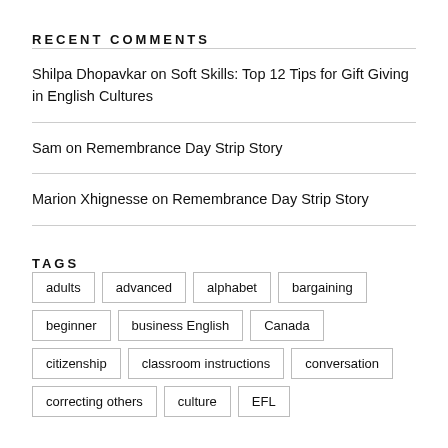RECENT COMMENTS
Shilpa Dhopavkar on Soft Skills: Top 12 Tips for Gift Giving in English Cultures
Sam on Remembrance Day Strip Story
Marion Xhignesse on Remembrance Day Strip Story
TAGS
adults
advanced
alphabet
bargaining
beginner
business English
Canada
citizenship
classroom instructions
conversation
correcting others
culture
EFL